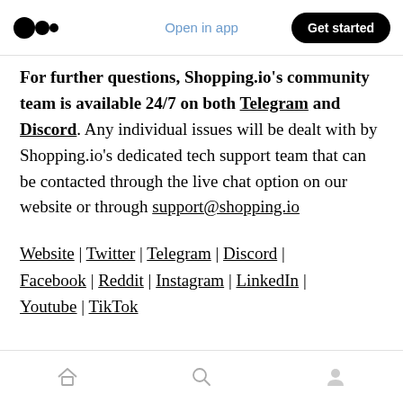Open in app | Get started
For further questions, Shopping.io's community team is available 24/7 on both Telegram and Discord. Any individual issues will be dealt with by Shopping.io's dedicated tech support team that can be contacted through the live chat option on our website or through support@shopping.io
Website | Twitter | Telegram | Discord | Facebook | Reddit | Instagram | LinkedIn | Youtube | TikTok
Home | Search | Profile